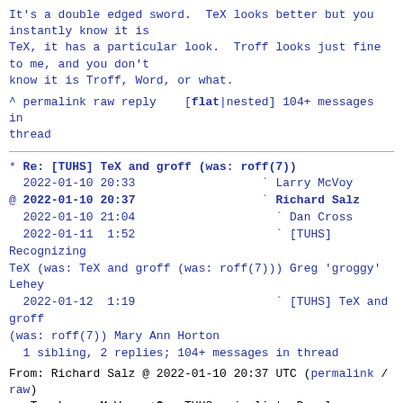It's a double edged sword.  TeX looks better but you instantly know it is
TeX, it has a particular look.  Troff looks just fine to me, and you don't
know it is Troff, Word, or what.
^ permalink raw reply    [flat|nested] 104+ messages in thread
* Re: [TUHS] TeX and groff (was: roff(7))
  2022-01-10 20:33                  ` Larry McVoy
@ 2022-01-10 20:37                  ` Richard Salz
  2022-01-10 21:04                    ` Dan Cross
  2022-01-11  1:52                    ` [TUHS] Recognizing TeX (was: TeX and groff (was: roff(7))) Greg 'groggy' Lehey
  2022-01-12  1:19                    ` [TUHS] TeX and groff (was: roff(7)) Mary Ann Horton
  1 sibling, 2 replies; 104+ messages in thread
From: Richard Salz @ 2022-01-10 20:37 UTC (permalink / raw)
   To: Larry McVoy; +Cc: TUHS main list, Douglas McIlroy
[-- Attachment #1: Type: text/plain, Size: 300 bytes --]
> It's a double edged sword.  TeX looks better but you instantly know it is
> TeX, it has a particular look.  Troff looks just fine